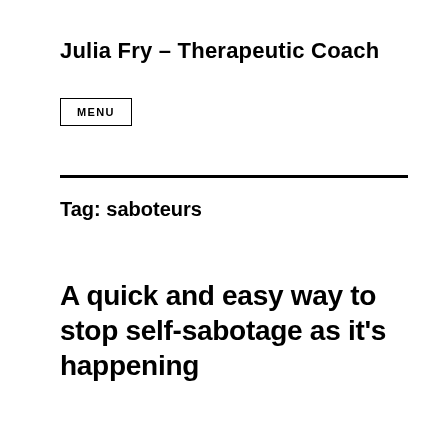Julia Fry – Therapeutic Coach
MENU
Tag: saboteurs
A quick and easy way to stop self-sabotage as it's happening